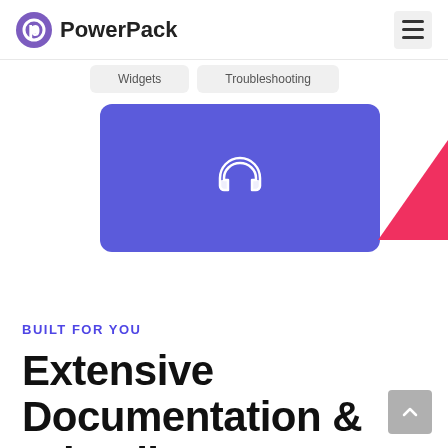PowerPack
[Figure (screenshot): Screenshot of PowerPack documentation interface showing Widgets and Troubleshooting tabs, and a blue card with headphone icon. A pink/red decorative triangle shape appears on the right side.]
BUILT FOR YOU
Extensive Documentation & Friendly Support